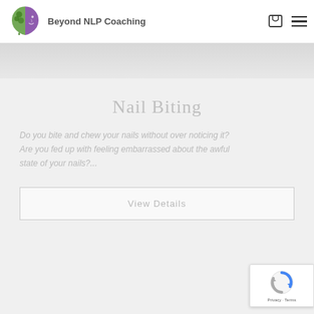Beyond NLP Coaching
Nail Biting
Do you bite and chew your nails without over noticing it? Are you fed up with feeling embarrassed about the awful state of your nails?...
View Details
[Figure (logo): reCAPTCHA badge with circular arrow logo, Privacy and Terms text]